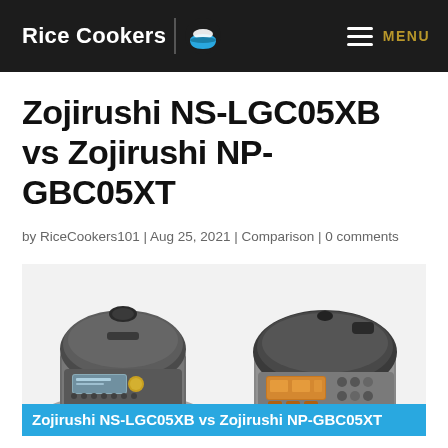Rice Cookers | MENU
Zojirushi NS-LGC05XB vs Zojirushi NP-GBC05XT
by RiceCookers101 | Aug 25, 2021 | Comparison | 0 comments
[Figure (photo): Two Zojirushi rice cookers side by side: NS-LGC05XB on the left and NP-GBC05XT on the right, both stainless steel with digital displays]
Zojirushi NS-LGC05XB vs Zojirushi NP-GBC05XT